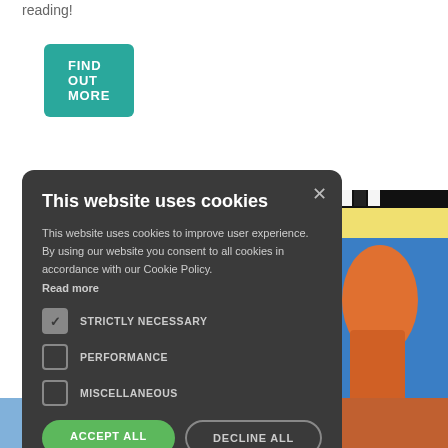reading!
FIND OUT MORE
[Figure (screenshot): Colorful painting visible behind cookie consent modal — shows orange figure against blue background with black and yellow accents]
This website uses cookies
This website uses cookies to improve user experience. By using our website you consent to all cookies in accordance with our Cookie Policy.
Read more
STRICTLY NECESSARY (checked)
PERFORMANCE (unchecked)
MISCELLANEOUS (unchecked)
ACCEPT ALL
DECLINE ALL
SHOW DETAILS